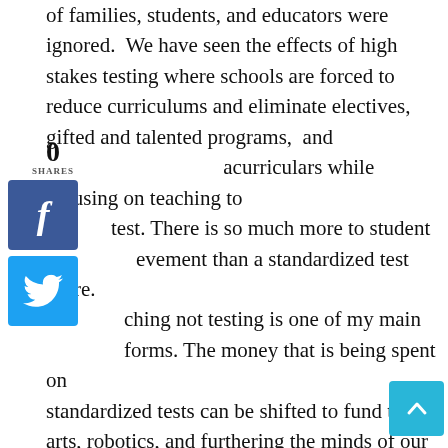of families, students, and educators were ignored. We have seen the effects of high stakes testing where schools are forced to reduce curriculums and eliminate electives, gifted and talented programs, and extracurriculars while focusing on teaching to the test. There is so much more to student achievement than a standardized test score. Teaching not testing is one of my main platforms. The money that is being spent on standardized tests can be shifted to fund the arts, robotics, and furthering the minds of our children. School report cards should reflect the high level classes that are being offered at the schools and the pathways for advanced learners.